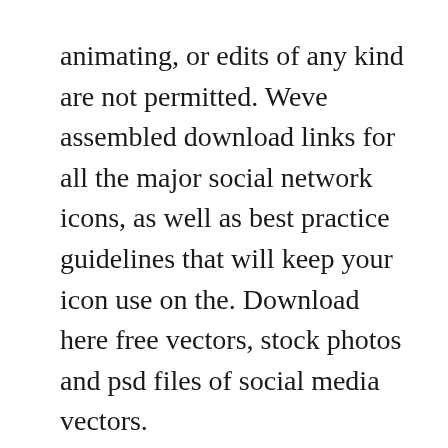animating, or edits of any kind are not permitted. Weve assembled download links for all the major social network icons, as well as best practice guidelines that will keep your icon use on the. Download here free vectors, stock photos and psd files of social media vectors.
Not only that, but ive not got a bonus set of icons thanks to my friends over at vecteezy who have created an additional set of social mediarelated icons just for my audience. To work around this, youll need to modify the